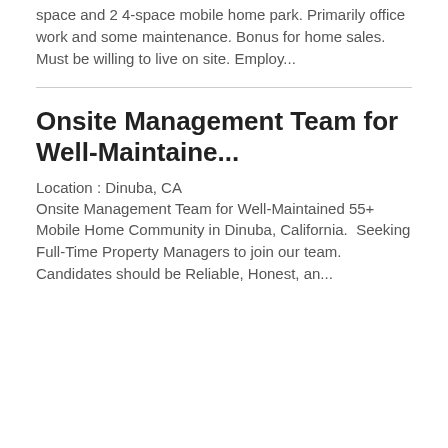space and 2 4-space mobile home park. Primarily office work and some maintenance. Bonus for home sales. Must be willing to live on site. Employ...
Onsite Management Team for Well-Maintaine...
Location : Dinuba, CA
Onsite Management Team for Well-Maintained 55+ Mobile Home Community in Dinuba, California. Seeking Full-Time Property Managers to join our team. Candidates should be Reliable, Honest, an...